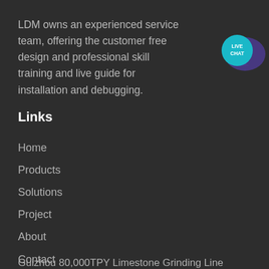LDM owns an experienced service team, offering the customer free design and professional skill training and live guide for installation and debugging.
[Figure (illustration): Live chat speech bubble icon — a teal/cyan circular speech bubble with the text 'LIVE CHAT' in white, overlaid on a dark purple/indigo larger speech bubble shape.]
Links
Home
Products
Solutions
Project
About
Contact
porject
Guizhou 80,000TPY Limestone Grinding Line